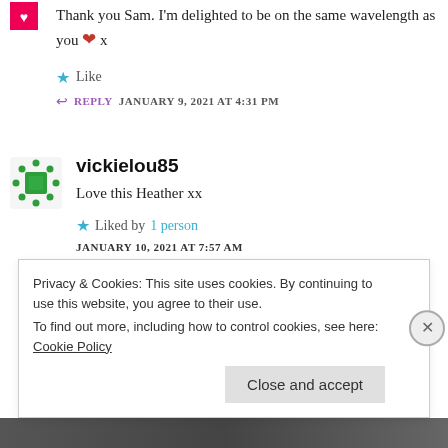Thank you Sam. I'm delighted to be on the same wavelength as you ❤ x
Like
REPLY  JANUARY 9, 2021 AT 4:31 PM
vickielou85
Love this Heather xx
Liked by 1 person
JANUARY 10, 2021 AT 7:57 AM
Privacy & Cookies: This site uses cookies. By continuing to use this website, you agree to their use.
To find out more, including how to control cookies, see here: Cookie Policy
Close and accept